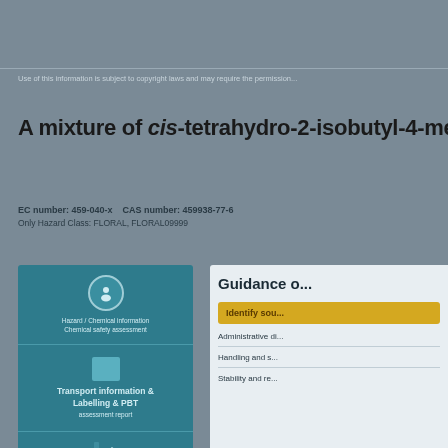Use of this information is subject to copyright laws and may require the permission...
A mixture of cis-tetrahydro-2-isobutyl-4-methylpyran-...
EC number: 459-040-x   CAS number: 459938-77-6
Only Hazard Class: FLORAL, FLORAL09999
[Figure (infographic): Teal panel with three sections: hazard information icon with chemical information label, transport information & labelling/IUPAC structured layout, and structure/uses and it labelling section]
[Figure (infographic): Guidance panel with yellow button 'Identify sou...' and three items: Administrative di..., Handling and s..., Stability and re...]